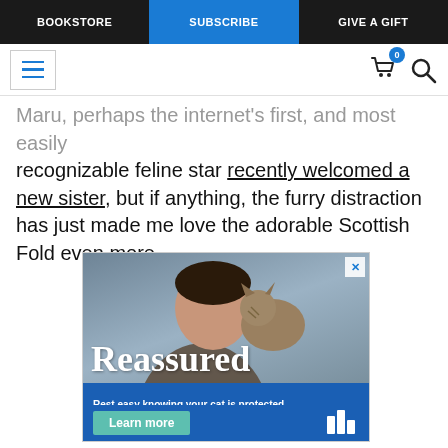BOOKSTORE | SUBSCRIBE | GIVE A GIFT
[Figure (screenshot): Navigation bar with hamburger menu, shopping cart with badge '0', and search icon]
Maru, perhaps the internet's first, and most easily recognizable feline star recently welcomed a new sister, but if anything, the furry distraction has just made me love the adorable Scottish Fold even more.
[Figure (photo): Advertisement: Man hugging a cat with text 'Reassured'. Blue strip below reads 'Rest easy knowing your cat is protected by America's #1 pet insurance.' with a 'Learn more' button.]